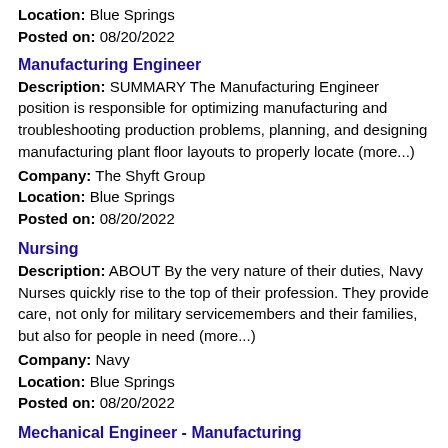Location: Blue Springs
Posted on: 08/20/2022
Manufacturing Engineer
Description: SUMMARY The Manufacturing Engineer position is responsible for optimizing manufacturing and troubleshooting production problems, planning, and designing manufacturing plant floor layouts to properly locate (more...)
Company: The Shyft Group
Location: Blue Springs
Posted on: 08/20/2022
Nursing
Description: ABOUT By the very nature of their duties, Navy Nurses quickly rise to the top of their profession. They provide care, not only for military servicemembers and their families, but also for people in need (more...)
Company: Navy
Location: Blue Springs
Posted on: 08/20/2022
Mechanical Engineer - Manufacturing
Description: SUMMARY The Manufacturing Engineer position is responsible for optimizing manufacturing and troubleshooting